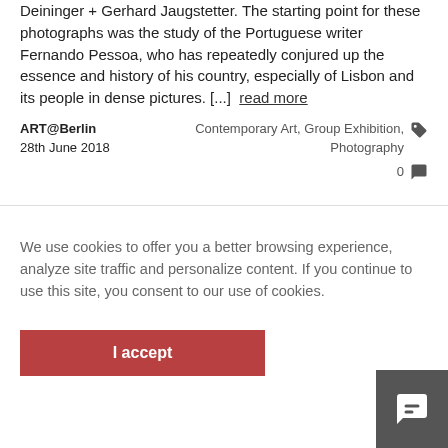Deininger + Gerhard Jaugstetter. The starting point for these photographs was the study of the Portuguese writer Fernando Pessoa, who has repeatedly conjured up the essence and history of his country, especially of Lisbon and its people in dense pictures. [...] read more
ART@Berlin
28th June 2018
Contemporary Art, Group Exhibition, Photography
0
We use cookies to offer you a better browsing experience, analyze site traffic and personalize content. If you continue to use this site, you consent to our use of cookies.
I accept